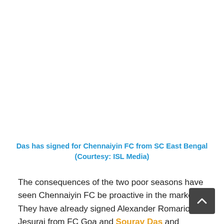Das has signed for Chennaiyin FC from SC East Bengal (Courtesy: ISL Media)
The consequences of the two poor seasons have seen Chennaiyin FC be proactive in the market. They have already signed Alexander Romario Jesuraj from FC Goa and Sourav Das and Mohammed Rafique from East Bengal.